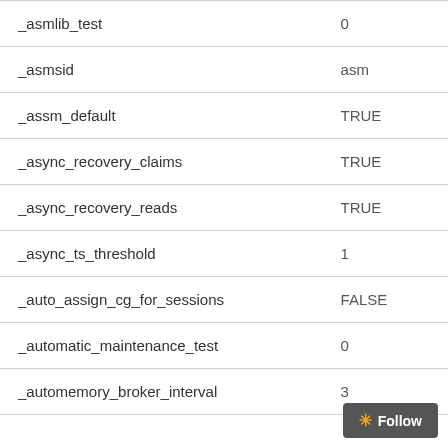| Parameter | Value |
| --- | --- |
| _asmlib_test | 0 |
| _asmsid | asm |
| _assm_default | TRUE |
| _async_recovery_claims | TRUE |
| _async_recovery_reads | TRUE |
| _async_ts_threshold | 1 |
| _auto_assign_cg_for_sessions | FALSE |
| _automatic_maintenance_test | 0 |
| _automemory_broker_interval | 3 |